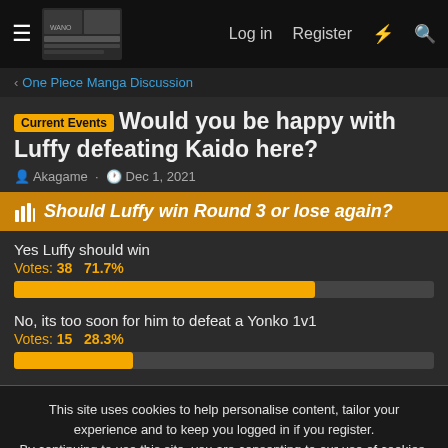Log in   Register
One Piece Manga Discussion
Current Events Would you be happy with Luffy defeating Kaido here?
Akagame · Dec 1, 2021
[Figure (bar-chart): Should Luffy win Round 3 or lose again?]
This site uses cookies to help personalise content, tailor your experience and to keep you logged in if you register. By continuing to use this site, you are consenting to our use of cookies.